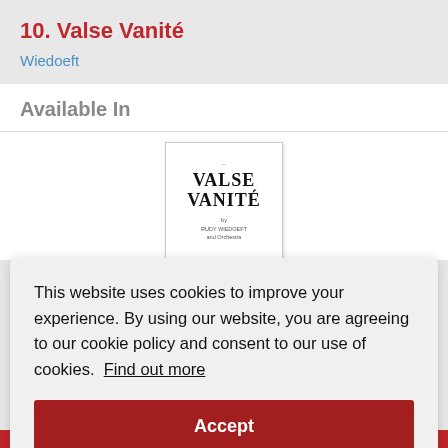10. Valse Vanité
Wiedoeft
Available In
[Figure (illustration): Album cover for Valse Vanité showing bold serif text 'VALSE VANITÉ' with small subtitle text below]
This website uses cookies to improve your experience. By using our website, you are agreeing to our cookie policy and consent to our use of cookies.  Find out more
Accept